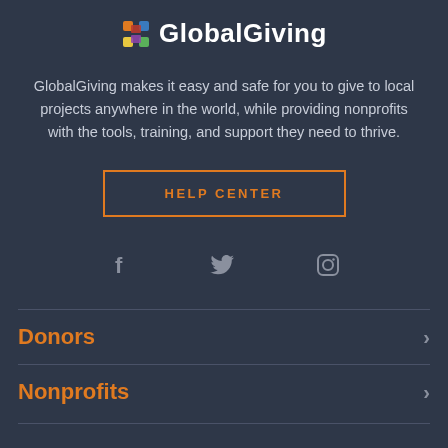GlobalGiving
GlobalGiving makes it easy and safe for you to give to local projects anywhere in the world, while providing nonprofits with the tools, training, and support they need to thrive.
HELP CENTER
[Figure (infographic): Social media icons: Facebook (f), Twitter (bird), Instagram (camera)]
Donors
Nonprofits